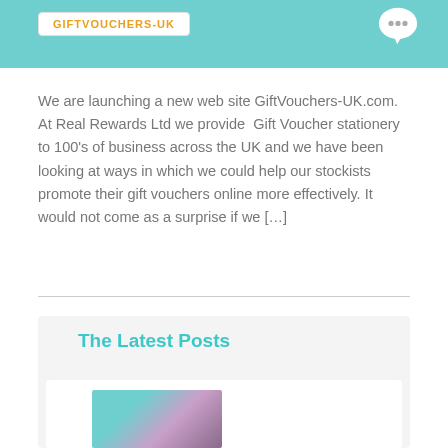[Figure (other): Teal/cyan banner with orange text label reading 'GIFTVOUCHERS-UK' and a white speech bubble icon on the right]
We are launching a new web site GiftVouchers-UK.com.   At Real Rewards Ltd we provide  Gift Voucher stationery to 100's of business across the UK and we have been looking at ways in which we could help our stockists promote their gift vouchers online more effectively. It would not come as a surprise if we […]
The Latest Posts
[Figure (photo): Thumbnail photo of pink/purple flowers against a teal background]